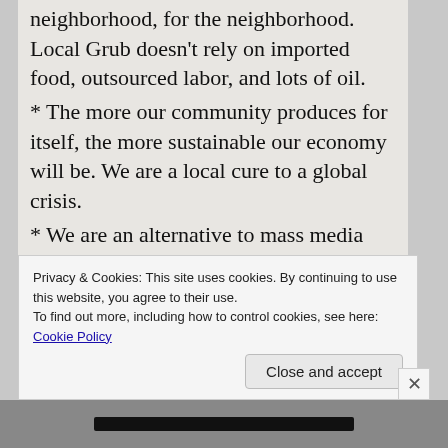neighborhood, for the neighborhood. Local Grub doesn't rely on imported food, outsourced labor, and lots of oil.
* The more our community produces for itself, the more sustainable our economy will be. We are a local cure to a global crisis.
* We are an alternative to mass media and mass consumption.
* A garden beautifies the neighborhood, providing green space and a place to participate in our community. We want to bring more
Privacy & Cookies: This site uses cookies. By continuing to use this website, you agree to their use.
To find out more, including how to control cookies, see here: Cookie Policy